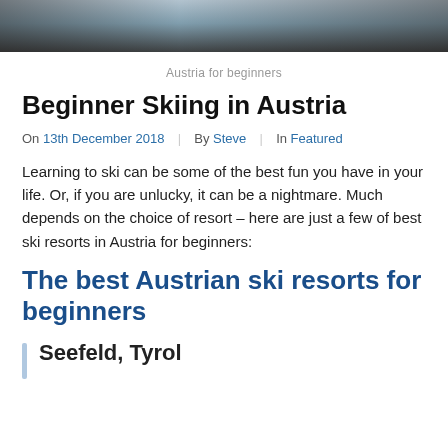[Figure (photo): Cropped photo of skiers in winter snow scene, dark clothing visible against snowy background]
Austria for beginners
Beginner Skiing in Austria
On 13th December 2018 | By Steve | In Featured
Learning to ski can be some of the best fun you have in your life. Or, if you are unlucky, it can be a nightmare. Much depends on the choice of resort – here are just a few of best ski resorts in Austria for beginners:
The best Austrian ski resorts for beginners
Seefeld, Tyrol